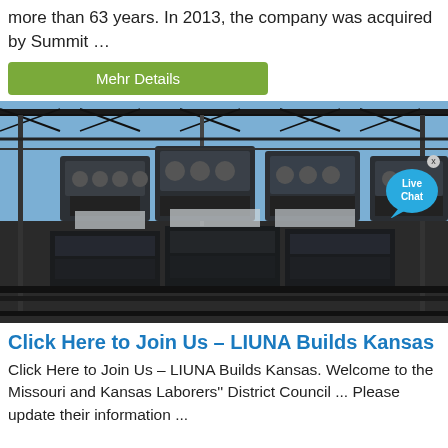more than 63 years. In 2013, the company was acquired by Summit …
Mehr Details
[Figure (photo): Industrial stage lighting or equipment rigs mounted on metal truss structures outdoors under a blue sky, with a 'Live Chat' speech bubble overlay in the upper right corner.]
Click Here to Join Us – LIUNA Builds Kansas
Click Here to Join Us – LIUNA Builds Kansas. Welcome to the Missouri and Kansas Laborers'' District Council ... Please update their information ...